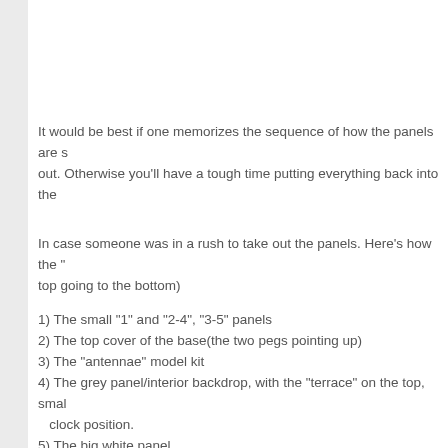It would be best if one memorizes the sequence of how the panels are s out. Otherwise you'll have a tough time putting everything back into the
In case someone was in a rush to take out the panels. Here's how the " top going to the bottom)
1) The small "1" and "2-4", "3-5" panels
2) The top cover of the base(the two pegs pointing up)
3) The "antennae" model kit
4) The grey panel/interior backdrop, with the "terrace" on the top, small clock position.
5) The big white panel
6) the flat, small, white and grey panels
7) the base stand(with the light switch)